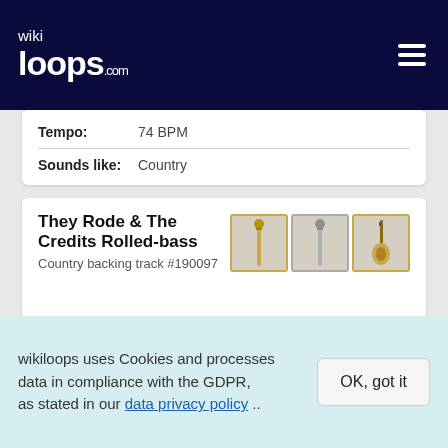wikiloops.com
Tempo: 74 BPM
Sounds like: Country
They Rode & The Credits Rolled-bass
Country backing track #190097
Meter: 4/4
Musical key: C major
Sounds like: Country
wikiloops uses Cookies and processes data in compliance with the GDPR, as stated in our data privacy policy ..